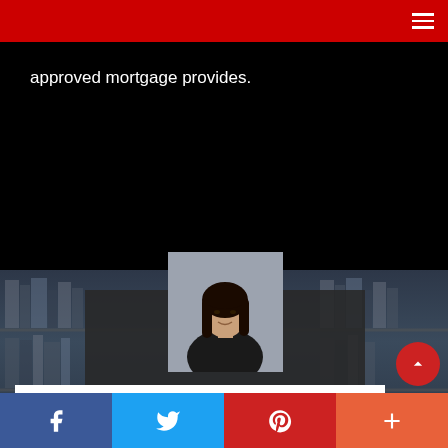Navigation bar with hamburger menu icon
approved mortgage provides.
[Figure (photo): Professional headshot of Rakhee Gillespie, a woman with long dark hair wearing a black outfit, against a grey background]
Rakhee Gillespie
Sales Representative
Phone: 416.690.2181
Fax: 416.690.3587
Email
[Figure (other): Barcode strip with red label area on white background]
Social share buttons: Facebook, Twitter, Pinterest, More (+)